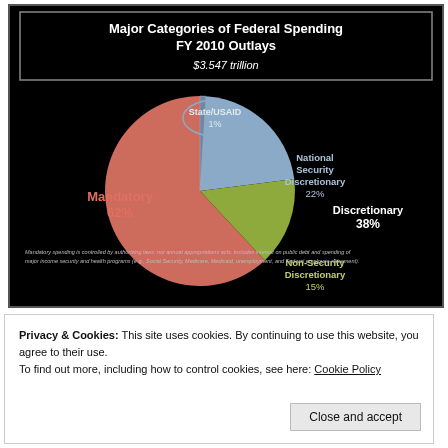[Figure (pie-chart): Major Categories of Federal Spending FY 2010 Outlays $3.547 trillion]
Privacy & Cookies: This site uses cookies. By continuing to use this website, you agree to their use.
To find out more, including how to control cookies, see here: Cookie Policy